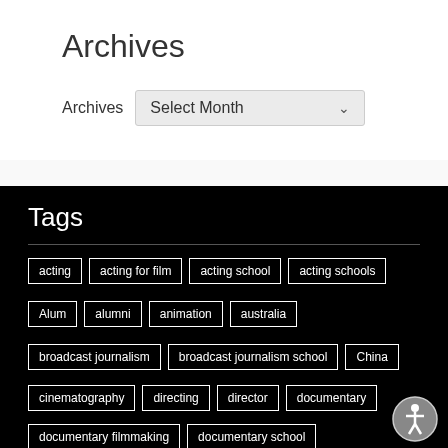Archives
Archives  Select Month
Tags
acting
acting for film
acting school
acting schools
Alum
alumni
animation
australia
broadcast journalism
broadcast journalism school
China
cinematography
directing
director
documentary
documentary filmmaking
documentary school